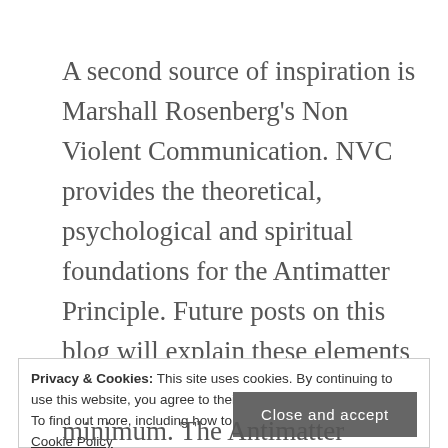A second source of inspiration is Marshall Rosenberg's Non Violent Communication. NVC provides the theoretical, psychological and spiritual foundations for the Antimatter Principle. Future posts on this blog will explain these elements in more detail, as do some number of existing posts at my long-standing Think Different blog.
Privacy & Cookies: This site uses cookies. By continuing to use this website, you agree to their use. To find out more, including how to control cookies, see here: Cookie Policy
Close and accept
minimum. The Antimatter Principle has just one